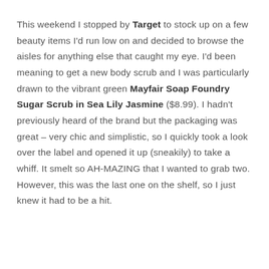This weekend I stopped by Target to stock up on a few beauty items I'd run low on and decided to browse the aisles for anything else that caught my eye. I'd been meaning to get a new body scrub and I was particularly drawn to the vibrant green Mayfair Soap Foundry Sugar Scrub in Sea Lily Jasmine ($8.99). I hadn't previously heard of the brand but the packaging was great – very chic and simplistic, so I quickly took a look over the label and opened it up (sneakily) to take a whiff. It smelt so AH-MAZING that I wanted to grab two. However, this was the last one on the shelf, so I just knew it had to be a hit.